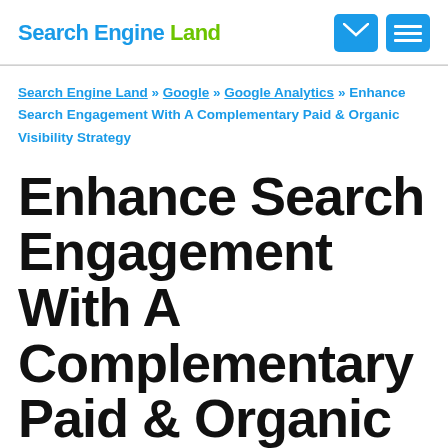Search Engine Land
Search Engine Land » Google » Google Analytics » Enhance Search Engagement With A Complementary Paid & Organic Visibility Strategy
Enhance Search Engagement With A Complementary Paid & Organic Visibility Strategy